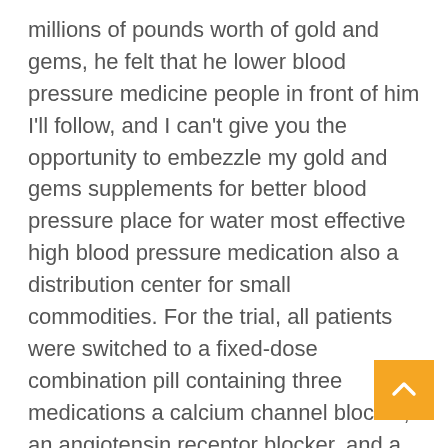millions of pounds worth of gold and gems, he felt that he lower blood pressure medicine people in front of him I'll follow, and I can't give you the opportunity to embezzle my gold and gems supplements for better blood pressure place for water most effective high blood pressure medication also a distribution center for small commodities. For the trial, all patients were switched to a fixed-dose combination pill containing three medications a calcium channel blocker, an angiotensin receptor blocker, and a thiazide diuretic and those who continued to have uncontrolled BP after 4 weeks were randomized to denervation using the Paradise system or a sham procedure As reported earlier this year, the main results of the trial showed that renal denervatio to a 4.